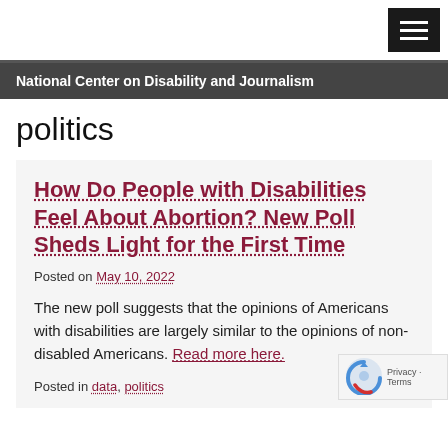National Center on Disability and Journalism
politics
How Do People with Disabilities Feel About Abortion? New Poll Sheds Light for the First Time
Posted on May 10, 2022
The new poll suggests that the opinions of Americans with disabilities are largely similar to the opinions of non-disabled Americans. Read more here.
Posted in data, politics